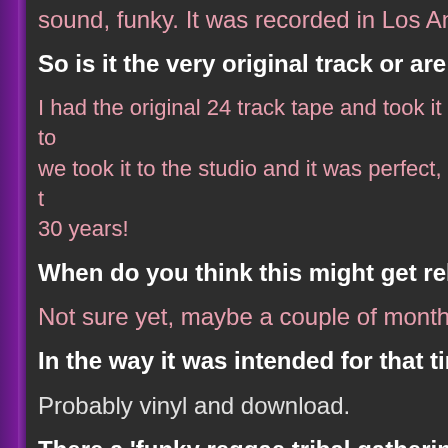sound, funky. It was recorded in Los Angeles
So is it the very original track or are you adding
I had the original 24 track tape and took it to the studio and it was perfect, the tape kept well for 30 years!
When do you think this might get released?
Not sure yet, maybe a couple of months. W
In the way it was intended for that time rat
Probably vinyl and download.
There a 'funky reggae tribal gathering' com
Oh yeah!
You're a part of this and is a tribute to Ari U
Yeah. We never had a funeral or a wake for celebration, a little sort of party to say good